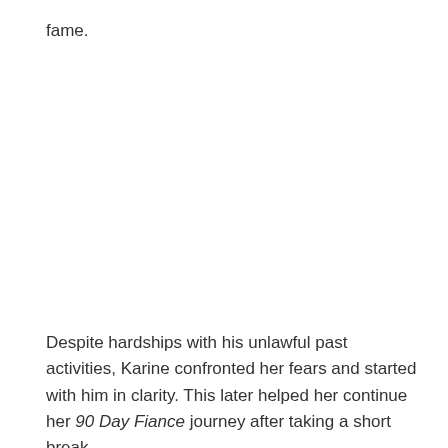fame.
Despite hardships with his unlawful past activities, Karine confronted her fears and started with him in clarity. This later helped her continue her 90 Day Fiance journey after taking a short break.